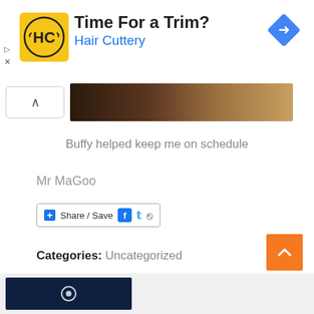[Figure (infographic): Hair Cuttery advertisement banner with yellow logo, 'Time For a Trim?' headline, 'Hair Cuttery' subtitle in blue, and a blue diamond navigation icon on the right]
[Figure (photo): Partial photo strip showing what appears to be a dark-haired subject against a wooden/tan background]
Buffy helped keep me on schedule
Mr MaGoo
[Figure (infographic): Share/Save button widget with Facebook, Twitter, and share icons]
Categories: Uncategorized
[Figure (infographic): Orange back-to-top button with upward chevron arrow]
[Figure (photo): Dark blue thumbnail image at the bottom of the page]